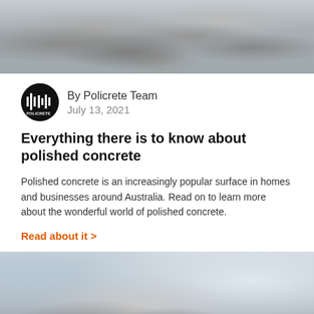[Figure (photo): Top partial image of polished concrete floor surface with pebble/aggregate pattern, grey tones]
By Policrete Team
July 13, 2021
Everything there is to know about polished concrete
Polished concrete is an increasingly popular surface in homes and businesses around Australia. Read on to learn more about the wonderful world of polished concrete.
Read about it >
[Figure (photo): Bottom partial image of two men in white coats or shirts sitting in a modern glass building interior, reviewing documents]